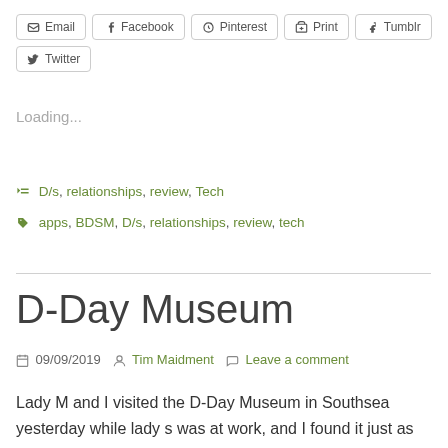[Figure (other): Row of social share buttons: Email, Facebook, Pinterest, Print, Tumblr, Twitter]
Loading...
D/s, relationships, review, Tech
apps, BDSM, D/s, relationships, review, tech
D-Day Museum
09/09/2019   Tim Maidment   Leave a comment
Lady M and I visited the D-Day Museum in Southsea yesterday while lady s was at work, and I found it just as